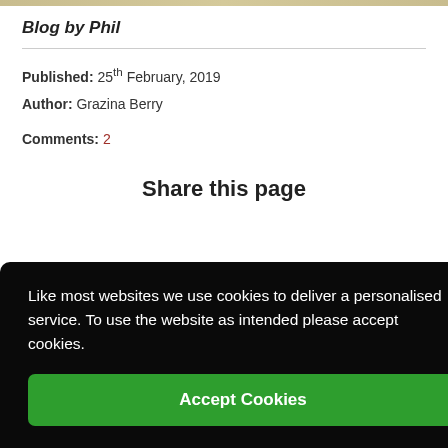Blog by Phil
Published: 25th February, 2019
Author: Grazina Berry
Comments: 2
Share this page
Like most websites we use cookies to deliver a personalised service. To use the website as intended please accept cookies.
Accept Cookies